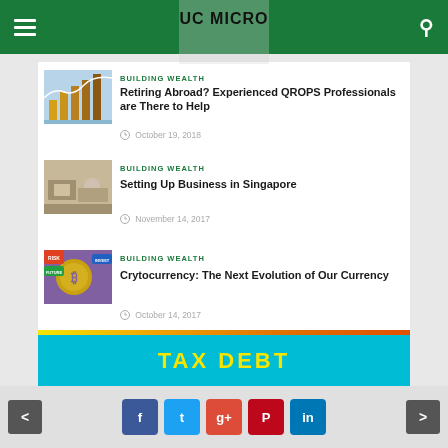UC MICRO
BUILDING WEALTH
Retiring Abroad? Experienced QROPS Professionals are There to Help
October 19, 2018
BUILDING WEALTH
Setting Up Business in Singapore
November 14, 2017
BUILDING WEALTH
Crytocurrency: The Next Evolution of Our Currency
October 14, 2017
[Figure (screenshot): TAX DEBT banner at bottom of page]